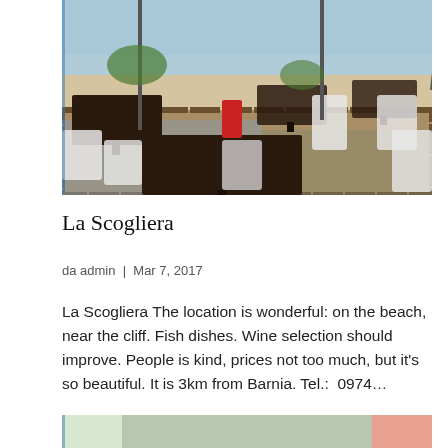[Figure (photo): Outdoor beach restaurant with dark wooden tables and white plastic chairs on a wooden deck overlooking a sandy beach and blue sea]
La Scogliera
da admin | Mar 7, 2017
La Scogliera The location is wonderful: on the beach, near the cliff. Fish dishes. Wine selection should improve. People is kind, prices not too much, but it's so beautiful. It is 3km from Barnia. Tel.: 0974...
[Figure (photo): Partial view of another location photo, partially cropped at bottom of page]